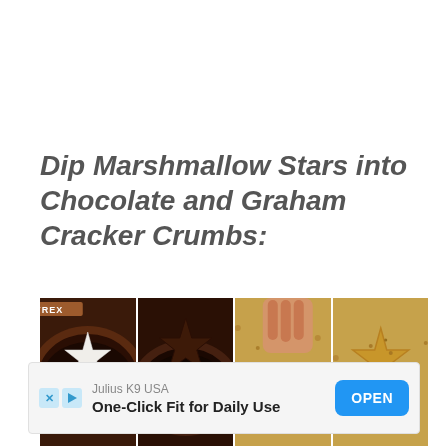Dip Marshmallow Stars into Chocolate and Graham Cracker Crumbs:
[Figure (photo): Four sequential photos showing marshmallow star being dipped in chocolate and then graham cracker crumbs: (1) white star-shaped marshmallow in bowl of melted chocolate, (2) chocolate-coated marshmallow star lifted out on a stick, (3) hand pressing chocolate star into graham cracker crumbs, (4) finished star coated in graham cracker crumbs.]
[Figure (screenshot): Advertisement bar: Julius K9 USA — One-Click Fit for Daily Use — OPEN button]